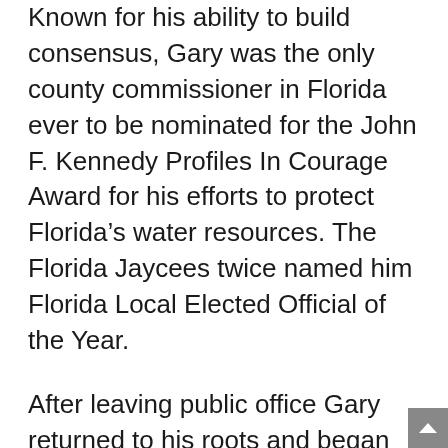Known for his ability to build consensus, Gary was the only county commissioner in Florida ever to be nominated for the John F. Kennedy Profiles In Courage Award for his efforts to protect Florida's water resources. The Florida Jaycees twice named him Florida Local Elected Official of the Year.
After leaving public office Gary returned to his roots and began hosting the popular CBS Television political program, The Usual Suspects. Today, the show remains a political staple in the state of Florida. In 1998 Gary founded the media production and political consulting firm The Zachary